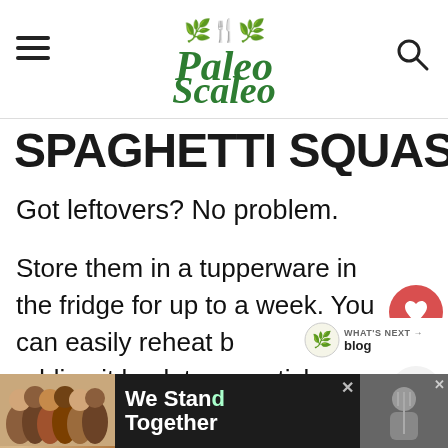Paleo Scaleo
SPAGHETTI SQUASH
Got leftovers? No problem.
Store them in a tupperware in the fridge for up to a week. You can easily reheat by adding it back to non-stick skillet or a skillet with a touch of oil over medium heat until warmed through.
Make sure you provide something to keep it
[Figure (infographic): Advertisement banner at bottom: group of people photo on left with 'We Stand Together' text in white on dark background, close button X visible]